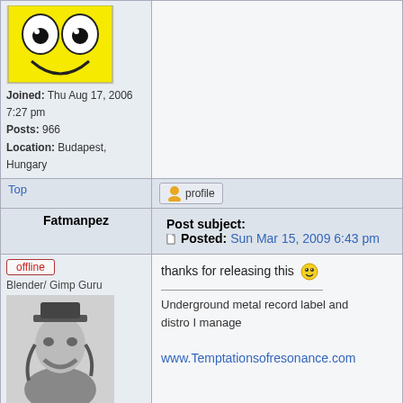[Figure (illustration): Yellow smiley face avatar (top half visible)]
Joined: Thu Aug 17, 2006 7:27 pm
Posts: 966
Location: Budapest, Hungary
Top
[Figure (illustration): Profile button with user icon]
Fatmanpez
Post subject:
Posted: Sun Mar 15, 2009 6:43 pm
[Figure (illustration): Offline button badge]
Blender/ Gimp Guru
[Figure (photo): Black and white photo of a man with long hair wearing a hat]
Joined: Fri Nov 24, 2006 5:10 am
Posts: 4705
Location: Blashyrkh
thanks for releasing this
Underground metal record label and distro I manage
www.Temptationsofresonance.com
Top
[Figure (illustration): Profile button with user icon]